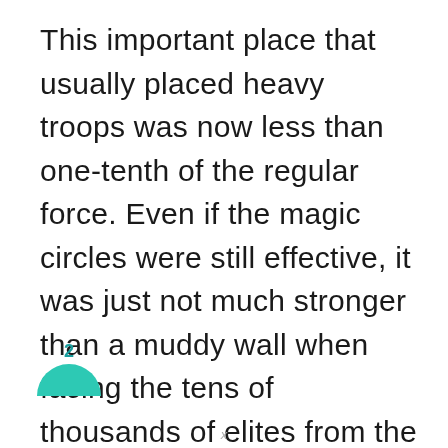This important place that usually placed heavy troops was now less than one-tenth of the regular force. Even if the magic circles were still effective, it was just not much stronger than a muddy wall when facing the tens of thousands of elites from the Dark Moon.
[Figure (other): A teal/green semicircle badge with the number 2 above it, partially cropped at the bottom of the page]